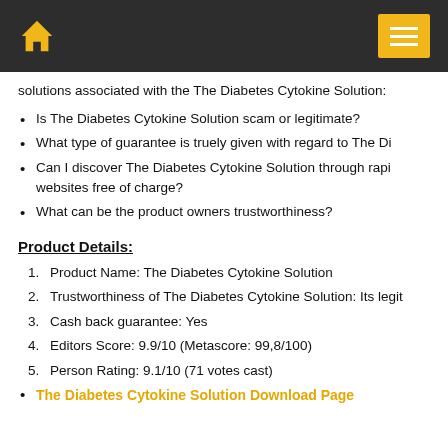Home | Menu
solutions associated with the The Diabetes Cytokine Solution:
Is The Diabetes Cytokine Solution scam or legitimate?
What type of guarantee is truely given with regard to The Di…
Can I discover The Diabetes Cytokine Solution through rapi… websites free of charge?
What can be the product owners trustworthiness?
Product Details:
Product Name: The Diabetes Cytokine Solution
Trustworthiness of The Diabetes Cytokine Solution: Its legit…
Cash back guarantee: Yes
Editors Score: 9.9/10 (Metascore: 99,8/100)
Person Rating: 9.1/10 (71 votes cast)
The Diabetes Cytokine Solution Download Page